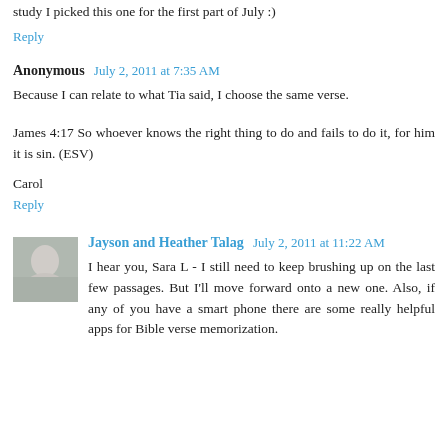study I picked this one for the first part of July :)
Reply
Anonymous  July 2, 2011 at 7:35 AM
Because I can relate to what Tia said, I choose the same verse.
James 4:17 So whoever knows the right thing to do and fails to do it, for him it is sin. (ESV)
Carol
Reply
Jayson and Heather Talag  July 2, 2011 at 11:22 AM
I hear you, Sara L - I still need to keep brushing up on the last few passages. But I'll move forward onto a new one. Also, if any of you have a smart phone there are some really helpful apps for Bible verse memorization.